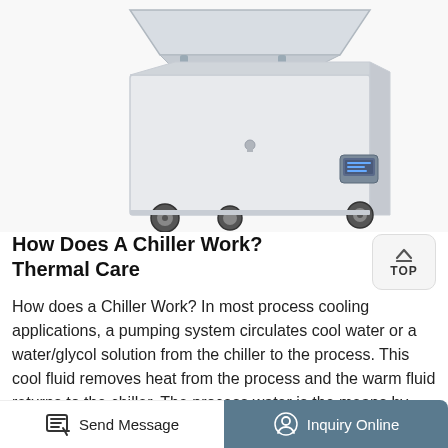[Figure (photo): A white chest freezer/chiller with an open lid, shown at an angle. The unit has casters/wheels at the base and a digital control panel on the front right side.]
How Does A Chiller Work? Thermal Care
How does a Chiller Work? In most process cooling applications, a pumping system circulates cool water or a water/glycol solution from the chiller to the process. This cool fluid removes heat from the process and the warm fluid returns to the chiller. The process water is the means by which heat
Send Message   Inquiry Online